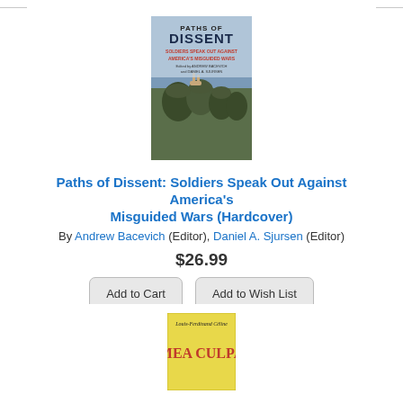[Figure (photo): Book cover of 'Paths of Dissent: Soldiers Speak Out Against America's Misguided Wars', edited by Andrew Bacevich and Daniel A. Sjursen. Cover shows soldiers in camouflage with a blue/grey sky background.]
Paths of Dissent: Soldiers Speak Out Against America's Misguided Wars (Hardcover)
By Andrew Bacevich (Editor), Daniel A. Sjursen (Editor)
$26.99
Add to Cart
Add to Wish List
Ships Today - Not Currently In-Store
[Figure (photo): Book cover of 'Mea Culpa' by Louis-Ferdinand Céline. Yellow cover with red text 'MEA CULPA'.]